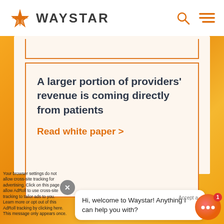WAYSTAR
A larger portion of providers' revenue is coming directly from patients
Read white paper >
Hi, welcome to Waystar! Anything I can help you with?
Your browser settings do not allow cross-site tracking for advertising. Click on this page to allow AdRoll to use cross-site tracking to tailor ads to you. Learn more or opt out of this AdRoll tracking by clicking here. This message only appears once.